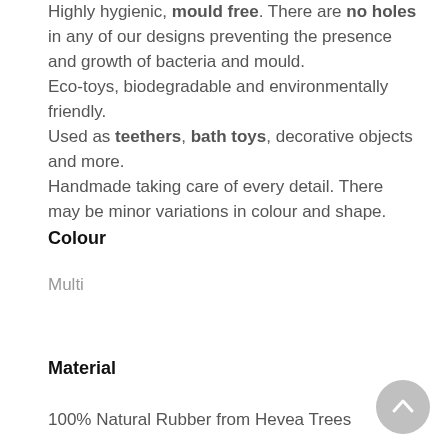Highly hygienic, mould free. There are no holes in any of our designs preventing the presence and growth of bacteria and mould.
Eco-toys, biodegradable and environmentally friendly.
Used as teethers, bath toys, decorative objects and more.
Handmade taking care of every detail. There may be minor variations in colour and shape.
Colour
Multi
Material
100% Natural Rubber from Hevea Trees